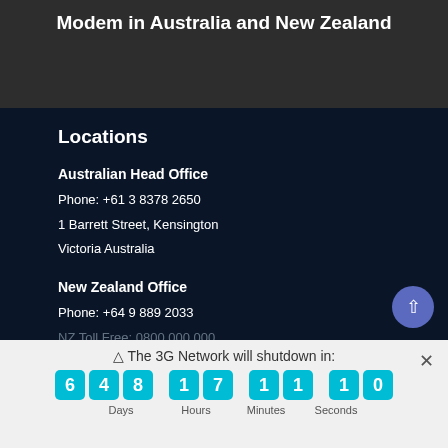Modem in Australia and New Zealand
Locations
Australian Head Office
Phone: +61 3 8378 2650
1 Barrett Street, Kensington
Victoria Australia
New Zealand Office
Phone: +64 9 889 2033
△ The 3G Network will shutdown in:
6 4 8 Days | 1 7 Hours | 1 1 Minutes | 1 0 Seconds